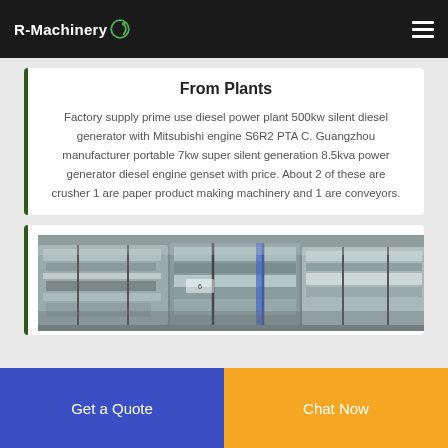R-Machinery
From Plants
Factory supply prime use diesel power plant 500kw silent diesel generator with Mitsubishi engine S6R2 PTA C. Guangzhou manufacturer portable 7kw super silent generation 8.5kva power generator diesel engine genset with price. About 2 of these are crusher 1 are paper product making machinery and 1 are conveyors.
[Figure (photo): Compressed scrap metal bales, likely aluminum or mixed metals, stacked in an industrial setting.]
Get a Quote
Chat Now